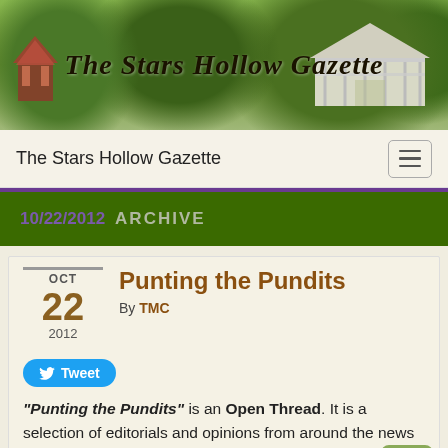[Figure (photo): The Stars Hollow Gazette banner header with park/gazebo background and decorative newspaper masthead title text]
The Stars Hollow Gazette
10/22/2012 ARCHIVE
Punting the Pundits
By TMC
Tweet
“Punting the Pundits” is an Open Thread. It is a selection of editorials and opinions from around the news medium and the internet blogs. The intent is to provide a forum for your reactions and opinions, not just to the